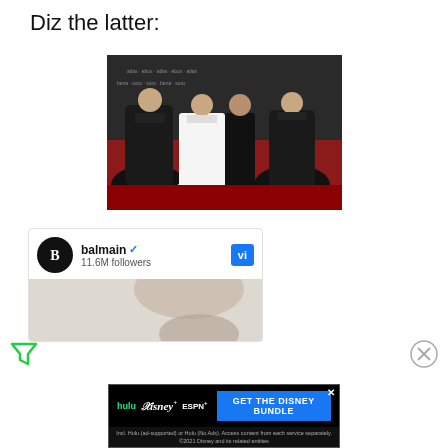Diz the latter:
[Figure (photo): Four people posing on a red carpet: two women in large black ball gowns on the sides, one woman in a white gown in the middle-left, and one man dressed in all black in the center-right.]
[Figure (screenshot): Social media profile card for 'balmain' (verified) with 11.6M followers, showing a partial fashion photo and a blue 'Vi' button.]
[Figure (infographic): Disney Bundle advertisement banner featuring Hulu, Disney+, and ESPN+ logos with text 'GET THE DISNEY BUNDLE' and small print about terms.]